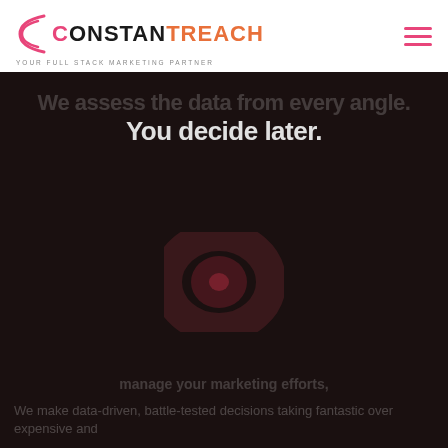[Figure (logo): ConstantReach logo with tagline 'YOUR FULL STACK MARKETING PARTNER']
You decide later.
[Figure (illustration): Faint dark circular/play button graphic in center of dark background]
We make data-driven, battle-tested decisions taking fantastic over expensive and
manage your marketing efforts,